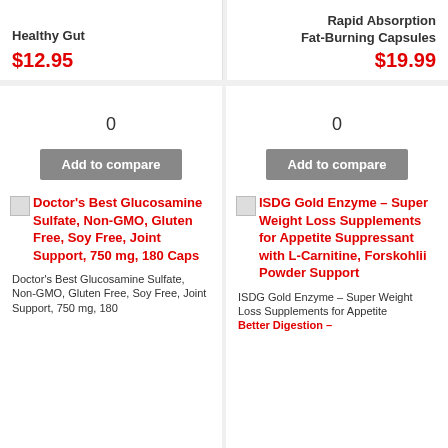Healthy Gut
$12.95
Rapid Absorption Fat-Burning Capsules
$19.99
0
Add to compare
Doctor's Best Glucosamine Sulfate, Non-GMO, Gluten Free, Soy Free, Joint Support, 750 mg, 180 Caps
Doctor's Best Glucosamine Sulfate, Non-GMO, Gluten Free, Soy Free, Joint Support, 750 mg, 180
0
Add to compare
ISDG Gold Enzyme – Super Weight Loss Supplements for Appetite Suppressant with L-Carnitine, Forskohlii Powder Support
ISDG Gold Enzyme – Super Weight Loss Supplements for Appetite Suppressant with L- Better Digestion –